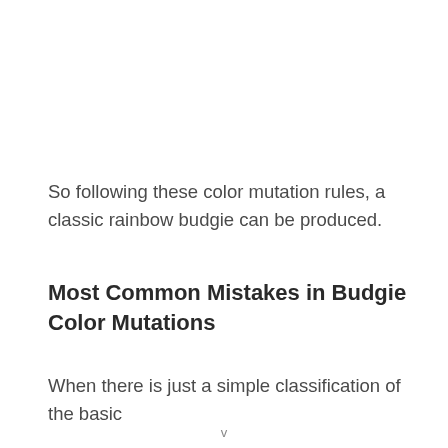So following these color mutation rules, a classic rainbow budgie can be produced.
Most Common Mistakes in Budgie Color Mutations
When there is just a simple classification of the basic
v